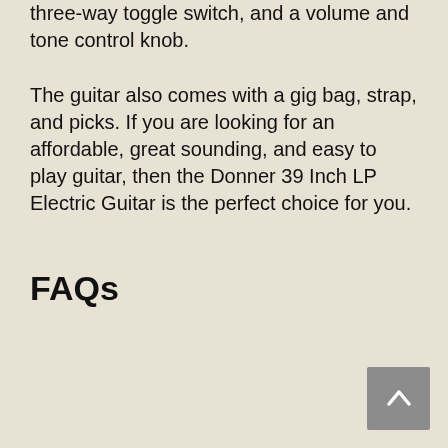three-way toggle switch, and a volume and tone control knob.
The guitar also comes with a gig bag, strap, and picks. If you are looking for an affordable, great sounding, and easy to play guitar, then the Donner 39 Inch LP Electric Guitar is the perfect choice for you.
FAQs